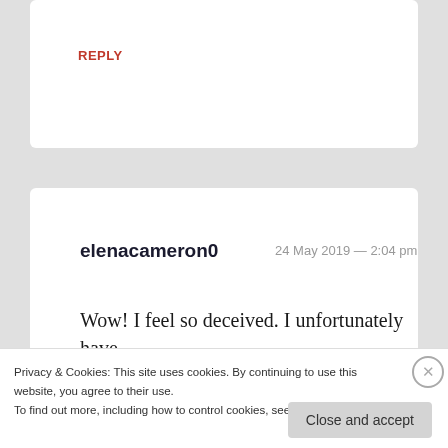REPLY
elenacameron0   24 May 2019 — 2:04 pm
Wow! I feel so deceived. I unfortunately have
Privacy & Cookies: This site uses cookies. By continuing to use this website, you agree to their use.
To find out more, including how to control cookies, see here: Cookie Policy
Close and accept